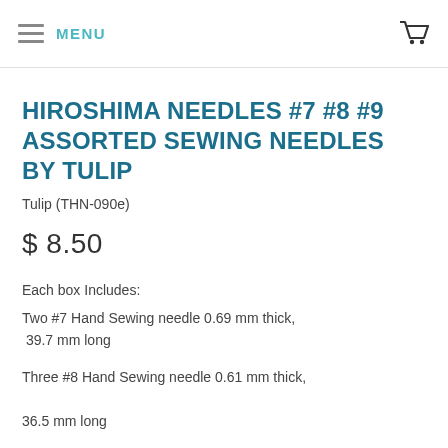MENU
HIROSHIMA NEEDLES #7 #8 #9 ASSORTED SEWING NEEDLES BY TULIP
Tulip (THN-090e)
$ 8.50
Each box Includes:
Two #7 Hand Sewing needle 0.69 mm thick, 39.7 mm long
Three #8 Hand Sewing needle 0.61 mm thick, 36.5 mm long